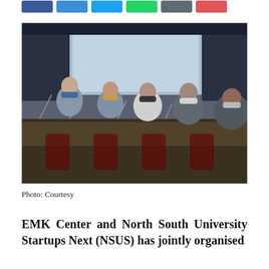[Figure (photo): Row of people wearing face masks seated at a conference table, looking toward a projection screen in a seminar room.]
Photo: Courtesy
EMK Center and North South University Startups Next (NSUS) has jointly organised